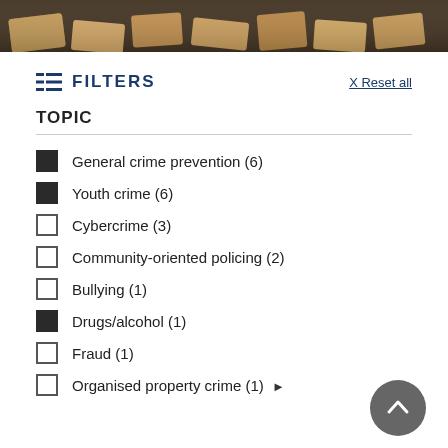[Figure (photo): Top banner photo showing wooden blocks/tiles scattered on a dark surface, viewed from above]
FILTERS
X Reset all
TOPIC
General crime prevention (6) — checked
Youth crime (6) — checked
Cybercrime (3) — unchecked
Community-oriented policing (2) — unchecked
Bullying (1) — unchecked
Drugs/alcohol (1) — checked
Fraud (1) — unchecked
Organised property crime (1) ▶ — unchecked